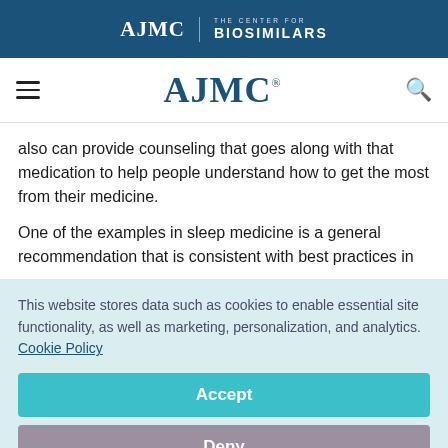AJMC | THE CENTER FOR BIOSIMILARS
[Figure (logo): AJMC logo with hamburger menu and search icon navigation bar]
also can provide counseling that goes along with that medication to help people understand how to get the most from their medicine.
One of the examples in sleep medicine is a general recommendation that is consistent with best practices in
This website stores data such as cookies to enable essential site functionality, as well as marketing, personalization, and analytics. Cookie Policy
Accept
Deny